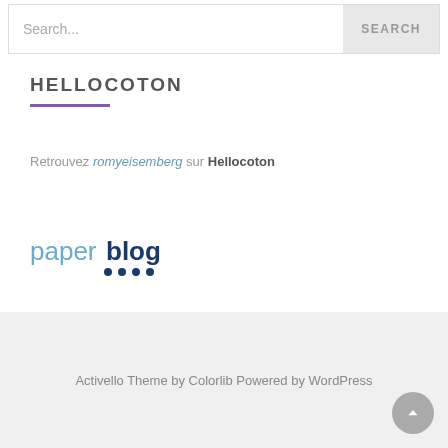Search...   SEARCH
HELLOCOTON
Retrouvez romyeisemberg sur Hellocoton
[Figure (logo): Paperblog logo — the word 'paperblog' in blue with decorative dots below the 'g']
Activello Theme by Colorlib Powered by WordPress